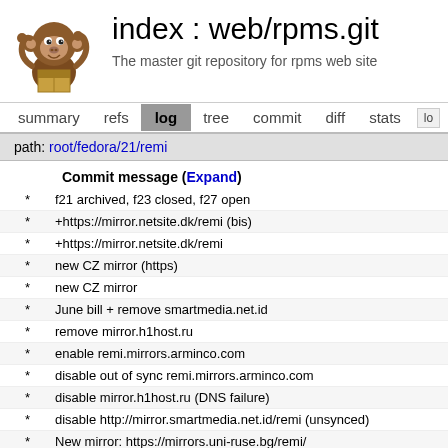[Figure (logo): Monkey with box cartoon logo (cgit)]
index : web/rpms.git
The master git repository for rpms web site
summary  refs  log  tree  commit  diff  stats
path: root/fedora/21/remi
Commit message (Expand)
* f21 archived, f23 closed, f27 open
* +https://mirror.netsite.dk/remi (bis)
* +https://mirror.netsite.dk/remi
* new CZ mirror (https)
* new CZ mirror
* June bill + remove smartmedia.net.id
* remove mirror.h1host.ru
* enable remi.mirrors.arminco.com
* disable out of sync remi.mirrors.arminco.com
* disable mirror.h1host.ru (DNS failure)
* disable http://mirror.smartmedia.net.id/remi (unsynced)
* New mirror: https://mirrors.uni-ruse.bg/remi/